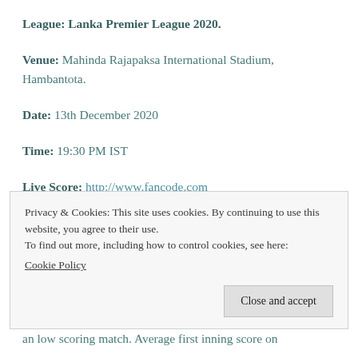League: Lanka Premier League 2020.
Venue: Mahinda Rajapaksa International Stadium, Hambantota.
Date: 13th December 2020
Time: 19:30 PM IST
Live Score: http://www.fancode.com
Privacy & Cookies: This site uses cookies. By continuing to use this website, you agree to their use. To find out more, including how to control cookies, see here: Cookie Policy
an low scoring match. Average first inning score on